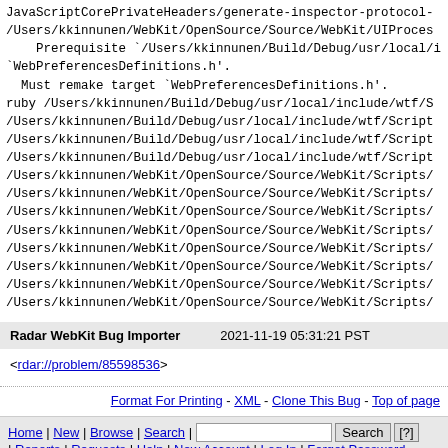JavaScriptCorePrivateHeaders/generate-inspector-protocol-
/Users/kkinnunen/WebKit/OpenSource/Source/WebKit/UIProces
    Prerequisite `/Users/kkinnunen/Build/Debug/usr/local/i
`WebPreferencesDefinitions.h'.
  Must remake target `WebPreferencesDefinitions.h'.
ruby /Users/kkinnunen/Build/Debug/usr/local/include/wtf/S
/Users/kkinnunen/Build/Debug/usr/local/include/wtf/Script
/Users/kkinnunen/Build/Debug/usr/local/include/wtf/Script
/Users/kkinnunen/Build/Debug/usr/local/include/wtf/Script
/Users/kkinnunen/WebKit/OpenSource/Source/WebKit/Scripts/
/Users/kkinnunen/WebKit/OpenSource/Source/WebKit/Scripts/
/Users/kkinnunen/WebKit/OpenSource/Source/WebKit/Scripts/
/Users/kkinnunen/WebKit/OpenSource/Source/WebKit/Scripts/
/Users/kkinnunen/WebKit/OpenSource/Source/WebKit/Scripts/
/Users/kkinnunen/WebKit/OpenSource/Source/WebKit/Scripts/
/Users/kkinnunen/WebKit/OpenSource/Source/WebKit/Scripts/
/Users/kkinnunen/WebKit/OpenSource/Source/WebKit/Scripts/
Radar WebKit Bug Importer    2021-11-19 05:31:21 PST
<rdar://problem/85598536>
Format For Printing - XML - Clone This Bug - Top of page
Home | New | Browse | Search | [Search button] [?] | Reports | Requests | Help | New Account | Log In | Forgot Password